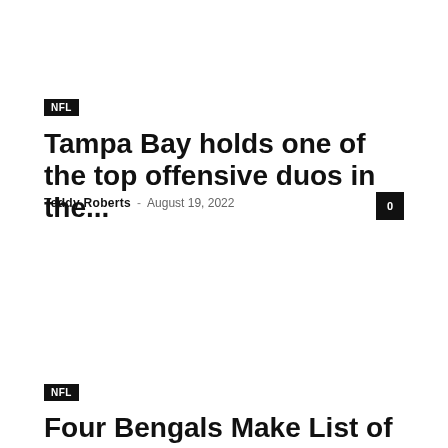NFL
Tampa Bay holds one of the top offensive duos in the...
Teddy Roberts - August 19, 2022
NFL
Four Bengals Make List of Potential